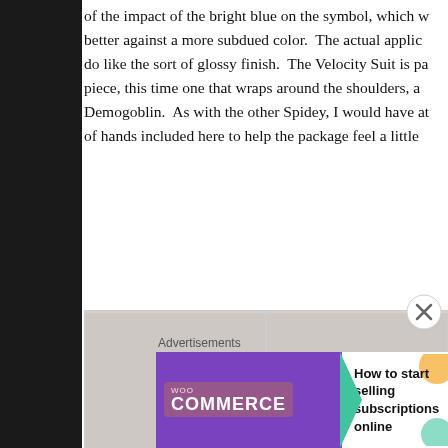of the impact of the bright blue on the symbol, which we better against a more subdued color. The actual applic do like the sort of glossy finish. The Velocity Suit is pac piece, this time one that wraps around the shoulders, a Demogoblin. As with the other Spidey, I would have at of hands included here to help the package feel a little
[Figure (photo): Two photos of a Spider-Man action figure in a blue and red Velocity Suit. Left photo shows the figure from the front, right photo shows the figure from the side profile.]
Advertisements
[Figure (other): WooCommerce advertisement banner: 'How to start selling subscriptions online']